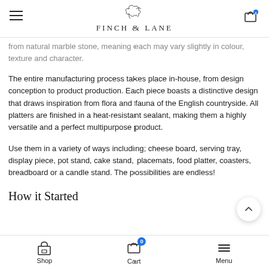FINCH & LANE
from natural marble stone, meaning each may vary slightly in colour, texture and character.
The entire manufacturing process takes place in-house, from design conception to product production. Each piece boasts a distinctive design that draws inspiration from flora and fauna of the English countryside. All platters are finished in a heat-resistant sealant, making them a highly versatile and a perfect multipurpose product.
Use them in a variety of ways including; cheese board, serving tray, display piece, pot stand, cake stand, placemats, food platter, coasters, breadboard or a candle stand. The possibilities are endless!
How it Started
Shop  Cart  Menu